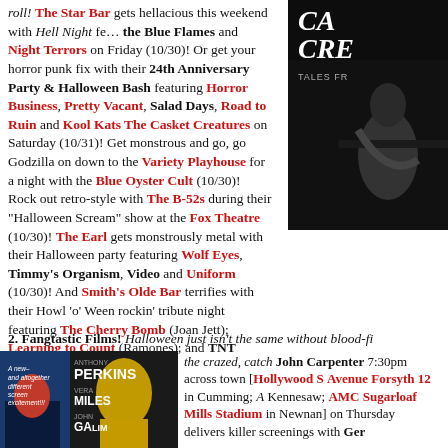roll! The Star Bar gets hellacious this weekend with Hell Night featuring the Blue Flames and Night Terrors on Friday (10/30)! Or get your horror punk fix with their 24th Anniversary Party & Halloween Bash featuring Horror Business, Pretty Vacant, Salad Days, Road to Ruin and Kool Kats The Casket Creatures on Saturday (10/31)! Get monstrous and go, go Godzilla on down to the Variety Playhouse for a night with the Blue Oyster Cult (10/30)! Rock out retro-style with The B-52s during their "Halloween Scream" show at the Fox Theatre (10/30)! The Earl gets monstrously metal with their Halloween party featuring Wolf Eyes, Timmy's Organism, Video and Uniform (10/30)! And Smith's Olde Bar terrifies with their Howl 'o' Ween rockin' tribute night featuring The Cherry Bomb (Joan Jett); Learning to Count (Ramones); and TNT (AC/DC) (10/30)
[Figure (photo): Black and white horror movie cover image, partially cropped, showing 'TALES FR...' text and a dark figure]
2. Fangtastic Films! Halloween just isn't the same without blood-fi...
[Figure (photo): Movie poster for Psycho featuring Anthony Perkins, Vera Miles, John Gavin]
the crazed, catch John Carpenter 7:30pm across town [Hollywood S... Avenue Forsyth 12 in Cumming; ... Kennesaw; AMC Sugarloaf Mills Stadium in Newnan] on Thursday... delivers killer screenings with Ger...